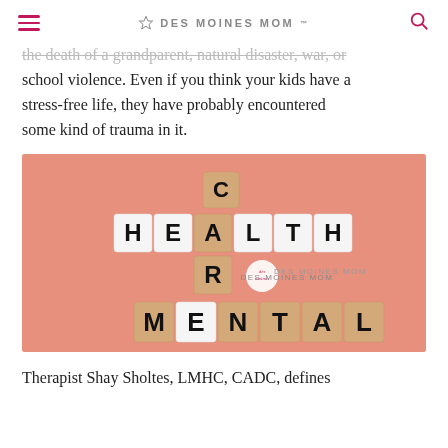DES MOINES MOM
the death of a grandparent, natural disaster, war, or school violence. Even if you think your kids have a stress-free life, they have probably encountered some kind of trauma in it.
[Figure (photo): Wooden letter tiles arranged in a crossword-style pattern spelling CARE vertically and HEALTH and MENTAL horizontally, on a pink background, with a 'Des Moines Mom' watermark logo.]
Therapist Shay Sholtes, LMHC, CADC, defines